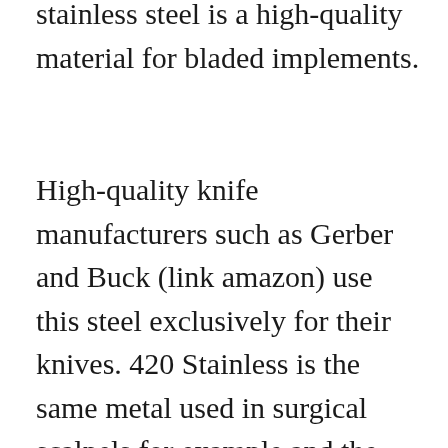stainless steel is a high-quality material for bladed implements.
High-quality knife manufacturers such as Gerber and Buck (link amazon) use this steel exclusively for their knives. 420 Stainless is the same metal used in surgical scalpels for example and the 420HC can be brought to a higher hardness than 420. This makes the blade very resistant to wear.